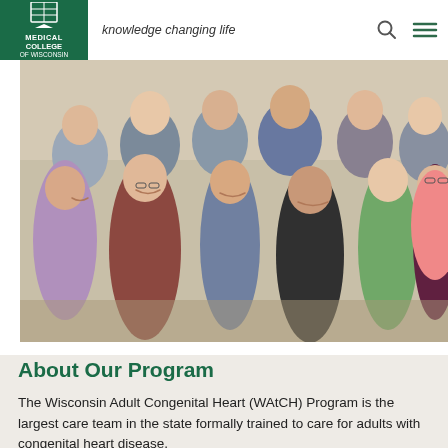knowledge changing life
[Figure (photo): Group photo of the Wisconsin Adult Congenital Heart (WAtCH) Program care team, approximately 13 people standing together outdoors in front of a lattice backdrop.]
About Our Program
The Wisconsin Adult Congenital Heart (WAtCH) Program is the largest care team in the state formally trained to care for adults with congenital heart disease.